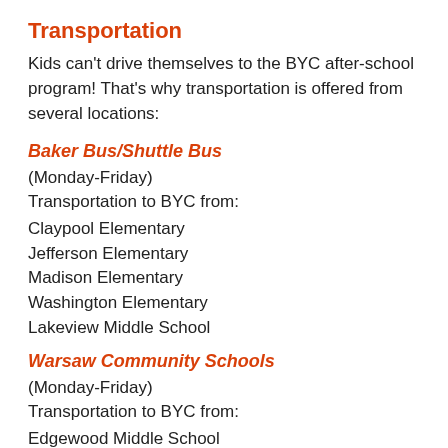Transportation
Kids can't drive themselves to the BYC after-school program! That's why transportation is offered from several locations:
Baker Bus/Shuttle Bus
(Monday-Friday)
Transportation to BYC from:
Claypool Elementary
Jefferson Elementary
Madison Elementary
Washington Elementary
Lakeview Middle School
Warsaw Community Schools
(Monday-Friday)
Transportation to BYC from:
Edgewood Middle School